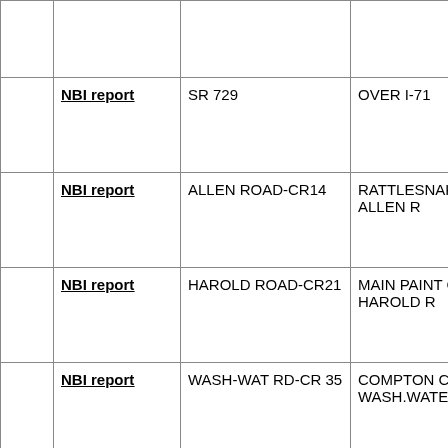|  |  |  |  |
| --- | --- | --- | --- |
|  |  |  |  |
| NBI report | SR 729 | OVER I-71 | 2.51 MI N OF U |
| NBI report | ALLEN ROAD-CR14 | RATTLESNAKE CK - ALLEN R | 0.9 MI S OLD U |
| NBI report | HAROLD ROAD-CR21 | MAIN PAINT CK - HAROLD R | 0.25 MI W SR 7 |
| NBI report | WASH-WAT RD-CR 35 | COMPTON CK - WASH.WATERLO | 0.4 MI SW GLA: |
| NBI report | ALLEN ROAD-CR14 | GRASSY BRANCH CK-ALLEN R | 0.5 MI N HAINE CR 80 |
| NBI report | GRASSY | GRASSY BR | 0.3 MI S MARC |